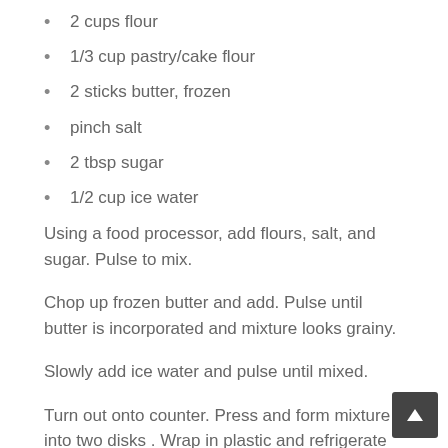2 cups flour
1/3 cup pastry/cake flour
2 sticks butter, frozen
pinch salt
2 tbsp sugar
1/2 cup ice water
Using a food processor, add flours, salt, and sugar. Pulse to mix.
Chop up frozen butter and add. Pulse until butter is incorporated and mixture looks grainy.
Slowly add ice water and pulse until mixed.
Turn out onto counter. Press and form mixture into two disks . Wrap in plastic and refrigerate about an hour to allow the flour to properly absorb the water and to relax the gluten.